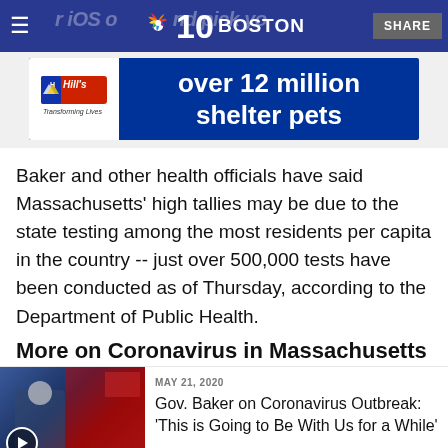NBC 10 Boston — SHARE
[Figure (other): Hill's pet food advertisement banner: 'over 12 million shelter pets']
Baker and other health officials have said Massachusetts' high tallies may be due to the state testing among the most residents per capita in the country -- just over 500,000 tests have been conducted as of Thursday, according to the Department of Public Health.
More on Coronavirus in Massachusetts
[Figure (photo): Governor Baker at podium with American flags — video thumbnail]
MAY 21, 2020
Gov. Baker on Coronavirus Outbreak: 'This is Going to Be With Us for a While'
[Figure (photo): Mayor Walsh at podium — video thumbnail]
MAY 21, 2020
Mayor Walsh Has 'Major Concerns' on Memorial Day Gatherings Spreading